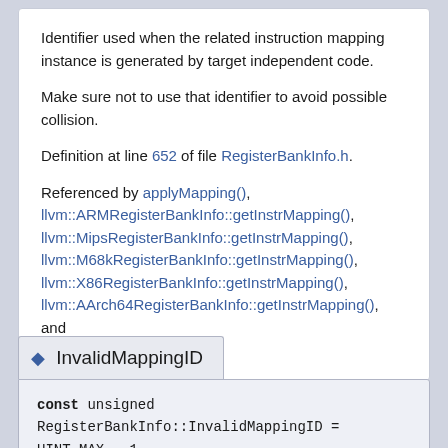Identifier used when the related instruction mapping instance is generated by target independent code.

Make sure not to use that identifier to avoid possible collision.

Definition at line 652 of file RegisterBankInfo.h.

Referenced by applyMapping(), llvm::ARMRegisterBankInfo::getInstrMapping(), llvm::MipsRegisterBankInfo::getInstrMapping(), llvm::M68kRegisterBankInfo::getInstrMapping(), llvm::X86RegisterBankInfo::getInstrMapping(), llvm::AArch64RegisterBankInfo::getInstrMapping(), and getInstrMappingImpl().
◆ InvalidMappingID
const unsigned RegisterBankInfo::InvalidMappingID = UINT_MAX - 1